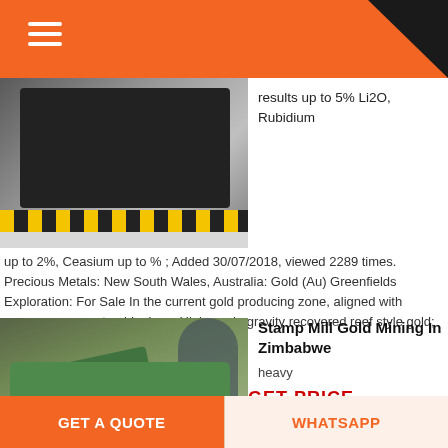[Figure (photo): Industrial mining machinery (crusher/conveyor) inside a warehouse facility with yellow-black striped safety barriers on the floor]
results up to 5% Li2O, Rubidium up to 2%, Ceasium up to % ; Added 30/07/2018, viewed 2289 times. Precious Metals: New South Wales, Australia: Gold (Au) Greenfields Exploration: For Sale In the current gold producing zone, aligned with numerous current gold mines. High grade gravity recovered reef style gold; Known historic mining site .
GET PRICE
[Figure (photo): Green heavy mining machinery (stamp mill) operating outdoors with dust cloud and trees/hillside in background]
Stamp Mill Gold Mining In Zimbabwe heavy